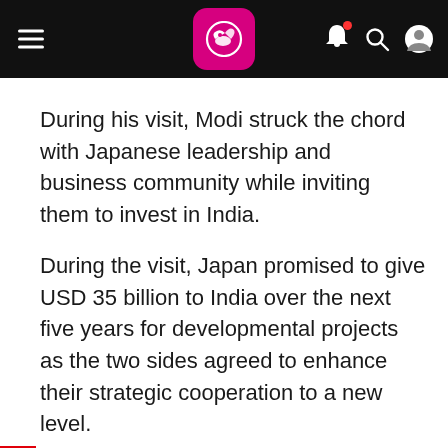News app header with hamburger menu, logo, bell, search, and profile icons
During his visit, Modi struck the chord with Japanese leadership and business community while inviting them to invest in India.
During the visit, Japan promised to give USD 35 billion to India over the next five years for developmental projects as the two sides agreed to enhance their strategic cooperation to a new level.
Modi visited the ‘smart city’ of Kyoto, besides Tokyo where he held talks with his Japanese counterpart Shinzo Abe and met other leaders.
The two countries signed five pacts covering defence exchanges, cooperation in clean energy, roads and